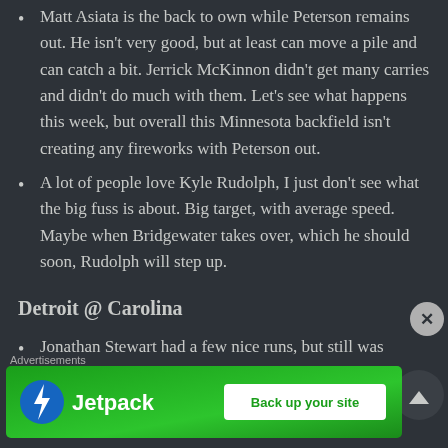Matt Asiata is the back to own while Peterson remains out. He isn't very good, but at least can move a pile and can catch a bit. Jerrick McKinnon didn't get many carries and didn't do much with them. Let's see what happens this week, but overall this Minnesota backfield isn't creating any fireworks with Peterson out.
A lot of people love Kyle Rudolph, I just don't see what the big fuss is about. Big target, with average speed. Maybe when Bridgewater takes over, which he should soon, Rudolph will step up.
Detroit @ Carolina
Jonathan Stewart had a few nice runs, but still was
Advertisements
[Figure (other): Jetpack advertisement banner with green background showing Jetpack logo and 'Back up your site' button]